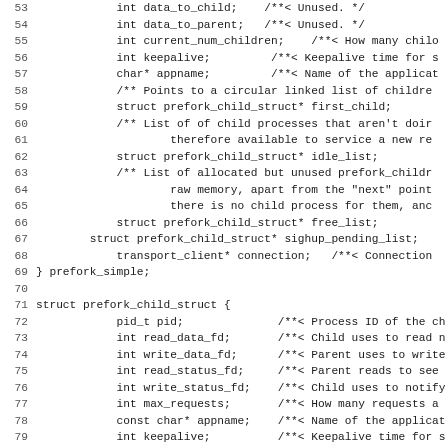[Figure (screenshot): Source code listing showing C struct definitions for prefork_simple and prefork_child_struct, with line numbers 53-85. Monospace font on white background.]